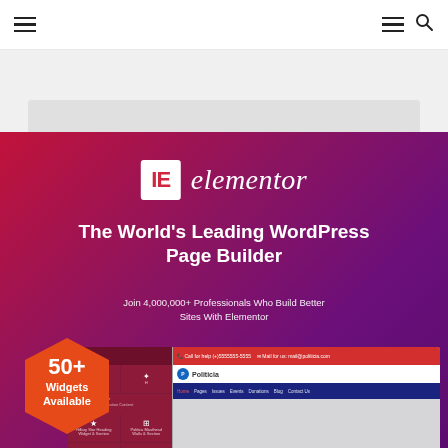Navigation header with hamburger menus and search icon
[Figure (screenshot): Gray band at top showing partial browser/app UI element]
[Figure (screenshot): Elementor WordPress Page Builder promotional banner with logo, headline 'The World's Leading WordPress Page Builder', subtitle 'Join 4,000,000+ Professionals Who Build Better Sites With Elementor', a hexagonal badge showing '50+ Widgets Available', and a screenshot of the Politicia theme with 'Together, We Will Mov...' text]